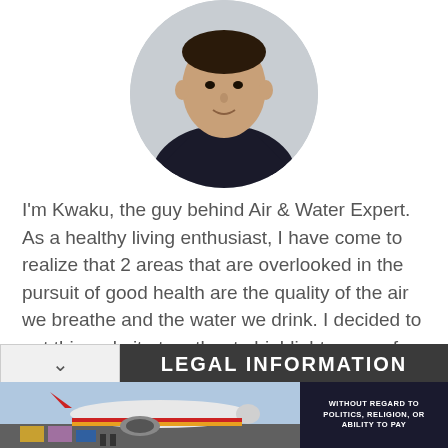[Figure (photo): Circular cropped portrait photo of a man in a dark suit with a yellow/gold tie and light blue shirt, professional headshot style]
I'm Kwaku, the guy behind Air & Water Expert. As a healthy living enthusiast, I have come to realize that 2 areas that are overlooked in the pursuit of good health are the quality of the air we breathe and the water we drink. I decided to put this website together to highlight some of the research I have done in the pursuit of clean air and pure water for the home. . It is my hope that you will find the information useful.
LEGAL INFORMATION
[Figure (photo): Advertisement banner showing an airplane being loaded with cargo, Southwest Airlines colors visible, with text overlay on right side reading WITHOUT REGARD TO POLITICS, RELIGION, OR ABILITY TO PAY]